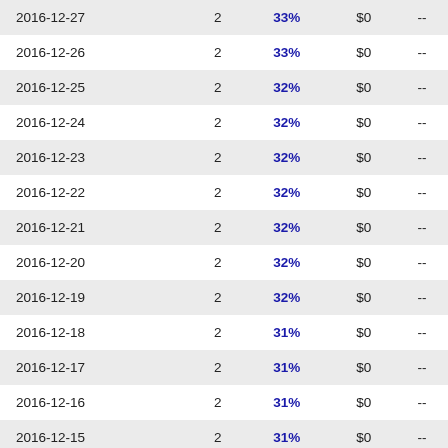| Date |  | % | $ |  |
| --- | --- | --- | --- | --- |
| 2016-12-27 | 2 | 33% | $0 | -- |
| 2016-12-26 | 2 | 33% | $0 | -- |
| 2016-12-25 | 2 | 32% | $0 | -- |
| 2016-12-24 | 2 | 32% | $0 | -- |
| 2016-12-23 | 2 | 32% | $0 | -- |
| 2016-12-22 | 2 | 32% | $0 | -- |
| 2016-12-21 | 2 | 32% | $0 | -- |
| 2016-12-20 | 2 | 32% | $0 | -- |
| 2016-12-19 | 2 | 32% | $0 | -- |
| 2016-12-18 | 2 | 31% | $0 | -- |
| 2016-12-17 | 2 | 31% | $0 | -- |
| 2016-12-16 | 2 | 31% | $0 | -- |
| 2016-12-15 | 2 | 31% | $0 | -- |
| 2016-12-14 | 2 | 31% | $0 | -- |
| 2016-12-13 | 2 | 31% | $0 | -- |
| 2016-12-12 | 2 | 31% | $0 | -- |